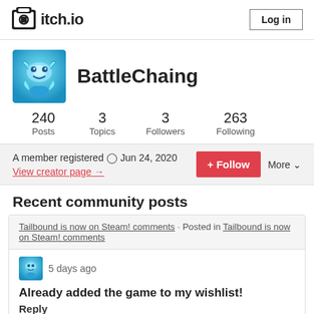itch.io  Log in
BattleChaing
| Posts | Topics | Followers | Following |
| --- | --- | --- | --- |
| 240 | 3 | 3 | 263 |
A member registered Jun 24, 2020  View creator page →   + Follow  More
Recent community posts
Tailbound is now on Steam! comments · Posted in Tailbound is now on Steam! comments
5 days ago
Already added the game to my wishlist!
Reply